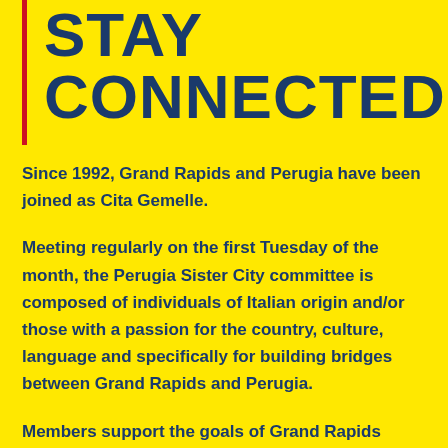STAY CONNECTED
Since 1992, Grand Rapids and Perugia have been joined as Cita Gemelle.
Meeting regularly on the first Tuesday of the month, the Perugia Sister City committee is composed of individuals of Italian origin and/or those with a passion for the country, culture, language and specifically for building bridges between Grand Rapids and Perugia.
Members support the goals of Grand Rapids Sister Cities International whose mission is to build relationships between Grand Rapids and its sister cities by promoting understanding and mutual